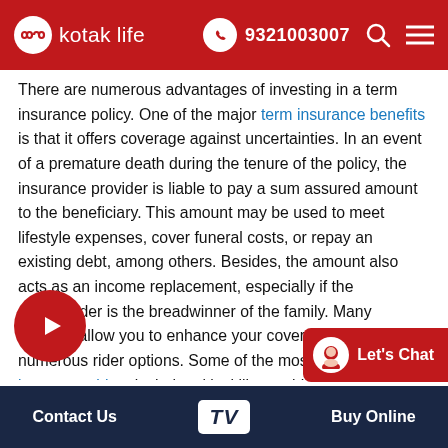kotak life | 9321003007
There are numerous advantages of investing in a term insurance policy. One of the major term insurance benefits is that it offers coverage against uncertainties. In an event of a premature death during the tenure of the policy, the insurance provider is liable to pay a sum assured amount to the beneficiary. This amount may be used to meet lifestyle expenses, cover funeral costs, or repay an existing debt, among others. Besides, the amount also acts as an income replacement, especially if the policyholder is the breadwinner of the family. Many insurers allow you to enhance your coverage by offering numerous rider options. Some of the most popular term insurance riders include critical illness rider, accidental death rider, parti...
Contact Us | TV | Buy Online